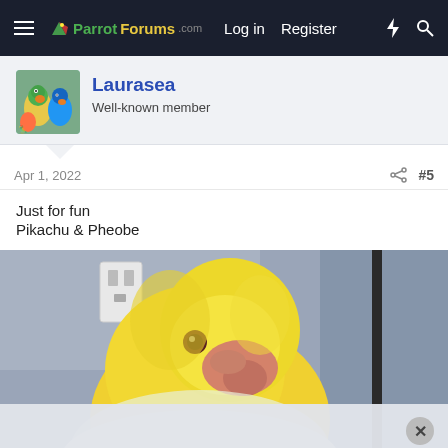ParrotForums.com — Log in  Register
Laurasea
Well-known member
Apr 1, 2022  #5
Just for fun
Pikachu & Pheobe
[Figure (photo): Close-up photo of a yellow parrot (lovebird or similar small parrot) with a pink/orange beak and red-brown eye, perched indoors against a grey-blue wall with a white outlet cover visible in the background. A dark vertical pole is on the right side.]